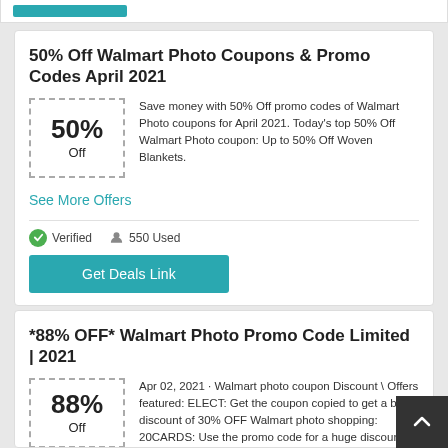[Figure (other): Partially visible card at top with a teal button bar]
50% Off Walmart Photo Coupons & Promo Codes April 2021
Save money with 50% Off promo codes of Walmart Photo coupons for April 2021. Today's top 50% Off Walmart Photo coupon: Up to 50% Off Woven Blankets.
See More Offers
Verified   550 Used
Get Deals Link
*88% OFF* Walmart Photo Promo Code Limited | 2021
Apr 02, 2021 · Walmart photo coupon Discount \ Offers featured: ELECT: Get the coupon copied to get a big discount of 30% OFF Walmart photo shopping: 20CARDS: Use the promo code for a huge discount of